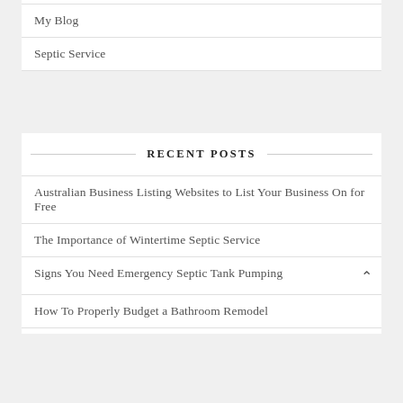My Blog
Septic Service
RECENT POSTS
Australian Business Listing Websites to List Your Business On for Free
The Importance of Wintertime Septic Service
Signs You Need Emergency Septic Tank Pumping
How To Properly Budget a Bathroom Remodel